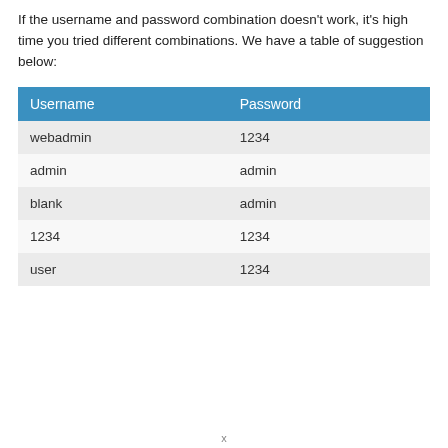If the username and password combination doesn't work, it's high time you tried different combinations. We have a table of suggestion below:
| Username | Password |
| --- | --- |
| webadmin | 1234 |
| admin | admin |
| blank | admin |
| 1234 | 1234 |
| user | 1234 |
x